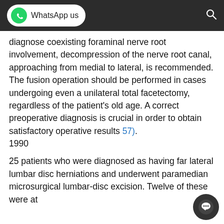WhatsApp us
diagnose coexisting foraminal nerve root involvement, decompression of the nerve root canal, approaching from medial to lateral, is recommended. The fusion operation should be performed in cases undergoing even a unilateral total facetectomy, regardless of the patient's old age. A correct preoperative diagnosis is crucial in order to obtain satisfactory operative results 57).
1990
25 patients who were diagnosed as having far lateral lumbar disc herniations and underwent paramedian microsurgical lumbar-disc excision. Twelve of these were at